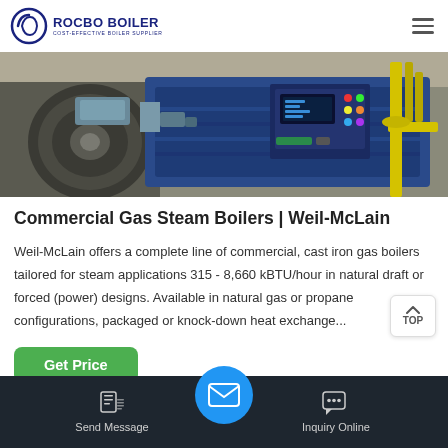ROCBO BOILER | COST-EFFECTIVE BOILER SUPPLIER
[Figure (photo): Industrial commercial gas steam boiler unit — dark blue cylindrical boiler body with control panel displaying buttons and indicators, electric motor with fan attached on left, yellow gas pipes on right, industrial warehouse setting]
Commercial Gas Steam Boilers | Weil-McLain
Weil-McLain offers a complete line of commercial, cast iron gas boilers tailored for steam applications 315 - 8,660 kBTU/hour in natural draft or forced (power) designs. Available in natural gas or propane configurations, packaged or knock-down heat exchange...
Get Price
Send Message | Inquiry Online